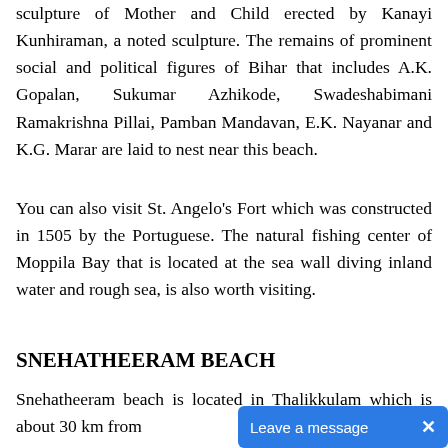sculpture of Mother and Child erected by Kanayi Kunhiraman, a noted sculpture. The remains of prominent social and political figures of Bihar that includes A.K. Gopalan, Sukumar Azhikode, Swadeshabimani Ramakrishna Pillai, Pamban Mandavan, E.K. Nayanar and K.G. Marar are laid to nest near this beach.
You can also visit St. Angelo's Fort which was constructed in 1505 by the Portuguese. The natural fishing center of Moppila Bay that is located at the sea wall diving inland water and rough sea, is also worth visiting.
SNEHATHEERAM BEACH
Snehatheeram beach is located in Thalikkulam which is about 30 km from